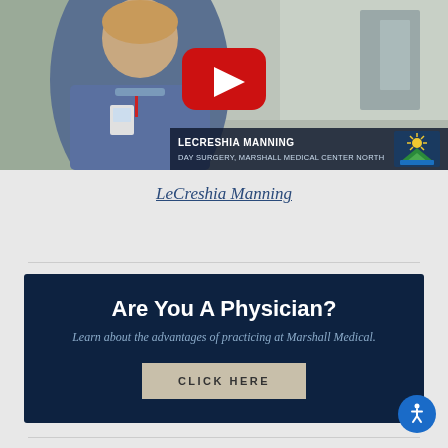[Figure (screenshot): Video thumbnail showing a nurse named LeCreshia Manning from Day Surgery, Marshall Medical Center North, with a YouTube play button overlay. The nurse is wearing blue scrubs in a hospital hallway.]
LeCreshia Manning
Are You A Physician?
Learn about the advantages of practicing at Marshall Medical.
CLICK HERE